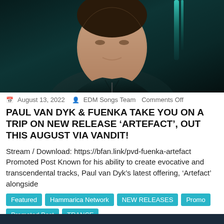[Figure (photo): Portrait photo of a man in a dark leather jacket against a dark teal/green background with vertical light streaks, cropped to show head and upper torso]
August 13, 2022   EDM Songs Team   Comments Off
PAUL VAN DYK & FUENKA TAKE YOU ON A TRIP ON NEW RELEASE 'ARTEFACT', OUT THIS AUGUST VIA VANDIT!
Stream / Download: https://bfan.link/pvd-fuenka-artefact Promoted Post Known for his ability to create evocative and transcendental tracks, Paul van Dyk's latest offering, 'Artefact' alongside
Featured
Hammarica Network
NEW RELEASES
Promo
Promoted Post
TRANCE